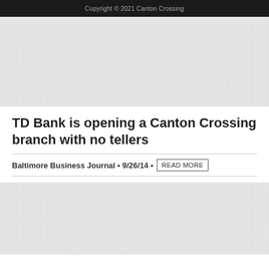Copyright © 2021 Canton Crossing
[Figure (photo): Gray placeholder image block at top of page]
TD Bank is opening a Canton Crossing branch with no tellers
Baltimore Business Journal • 9/26/14 • READ MORE
[Figure (photo): Gray placeholder image block at bottom of page]